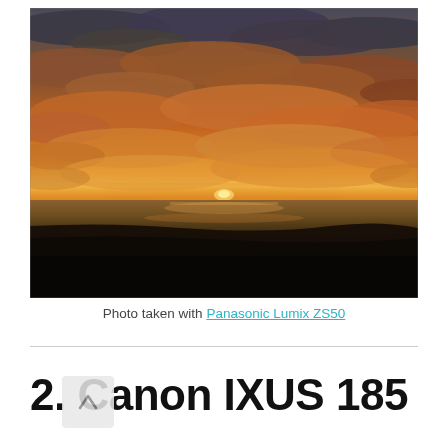[Figure (photo): A dramatic coastal sunset photograph showing a dark beach/shoreline in the foreground, the sun setting on the horizon, and a vivid orange and red sky with dramatic cloud formations.]
Photo taken with Panasonic Lumix ZS50
2. Canon IXUS 185